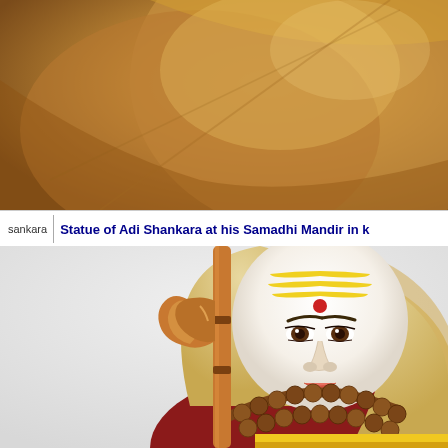[Figure (photo): Close-up photograph of a golden/brown sculptural face or statue, showing warm earthy tones against a golden background.]
sankara   Statue of Adi Shankara at his Samadhi Mandir in k
[Figure (photo): Photograph of a colorful statue of Adi Shankara showing a white-faced figure with yellow horizontal stripes on forehead, red bindi, wearing red robes and brown rudraksha bead necklace, holding a wooden staff with an axe (parashu), set against a light grey-white background.]